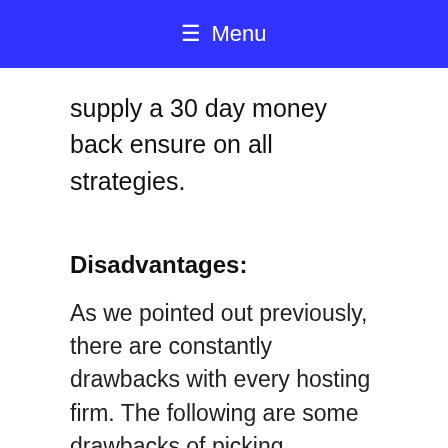≡ Menu
supply a 30 day money back ensure on all strategies.
Disadvantages:
As we pointed out previously, there are constantly drawbacks with every hosting firm. The following are some drawbacks of picking Bluehost as your host.